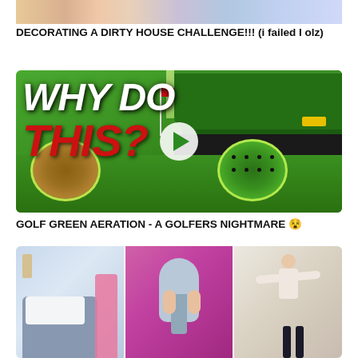[Figure (screenshot): Partial thumbnail of a video at the top of the page, cropped, showing faces or colorful content]
DECORATING A DIRTY HOUSE CHALLENGE!!! (i failed I olz)
[Figure (screenshot): YouTube video thumbnail showing a golf green aeration machine on a golf course with text 'WHY DO THIS?' in white and red bold italic font, two circular insets showing aerating plugs and holes in turf, and a play button in the center]
GOLF GREEN AERATION - A GOLFERS NIGHTMARE 😵
[Figure (screenshot): Partial thumbnail at bottom showing three panels: a bedroom scene, someone using a cleaning device, and a person stretching/exercising]